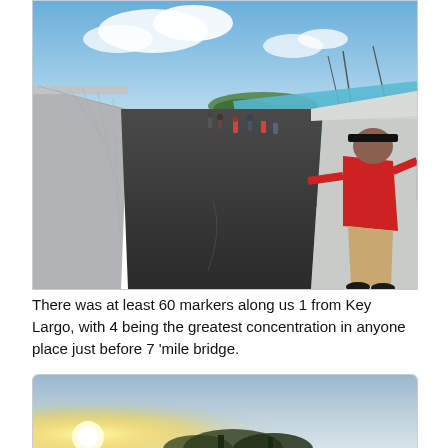[Figure (photo): A long concrete fishing pier (old Seven Mile Bridge) stretching into the distance in the Florida Keys. People are fishing along the right railing. The ocean is turquoise on the right side. The pavement is dark asphalt. Sky is blue with clouds. A man in a red shirt stands close to the camera on the right, fishing over the concrete parapet.]
There was at least 60 markers along us 1 from Key Largo, with 4 being the greatest concentration in anyone place just before 7 'mile bridge.
[Figure (photo): Partial view of a sky scene at sunset or sunrise with a bright yellow-white sun glow on the left side. Silhouettes of trees visible at the bottom. Hazy grey-blue sky.]